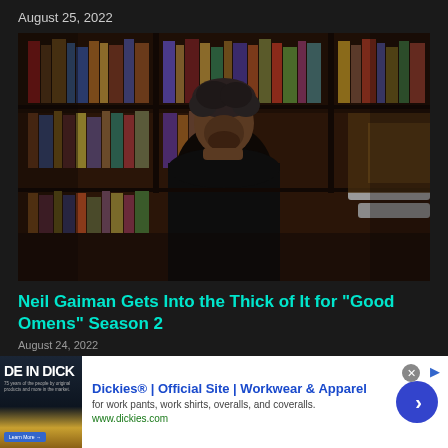August 25, 2022
[Figure (photo): Man with curly dark hair wearing black jacket sitting in front of bookshelves, resting chin on hand, looking at camera]
Neil Gaiman Gets Into the Thick of It for “Good Omens” Season 2
August 24, 2022
[Figure (other): Advertisement: Dickies Official Site - Workwear and Apparel. Shows book/product image with text DE IN DICK on left side. Ad title: Dickies® | Official Site | Workwear & Apparel. Description: for work pants, work shirts, overalls, and coveralls. URL: www.dickies.com. Blue circular arrow button on right.]